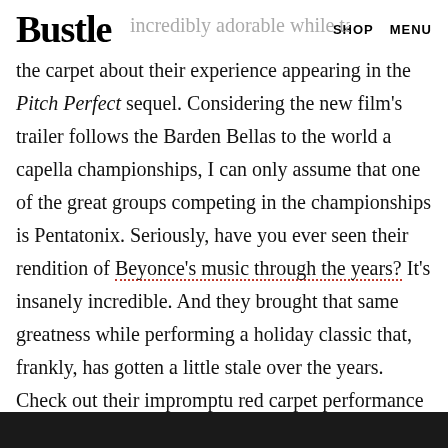Bustle   incredibly adorable while talking on   SHOP   MENU
the carpet about their experience appearing in the Pitch Perfect sequel. Considering the new film's trailer follows the Barden Bellas to the world a capella championships, I can only assume that one of the great groups competing in the championships is Pentatonix. Seriously, have you ever seen their rendition of Beyonce's music through the years? It's insanely incredible. And they brought that same greatness while performing a holiday classic that, frankly, has gotten a little stale over the years. Check out their impromptu red carpet performance below.
[Figure (photo): Dark/black bottom bar area, partial image]